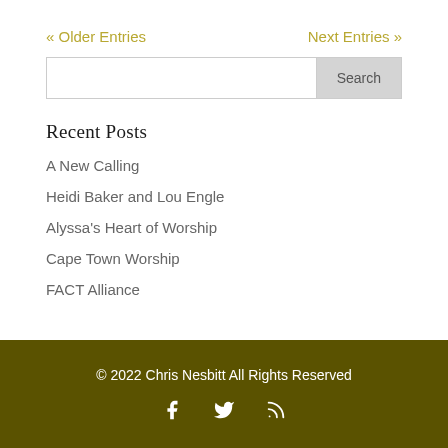« Older Entries
Next Entries »
Recent Posts
A New Calling
Heidi Baker and Lou Engle
Alyssa's Heart of Worship
Cape Town Worship
FACT Alliance
© 2022 Chris Nesbitt All Rights Reserved